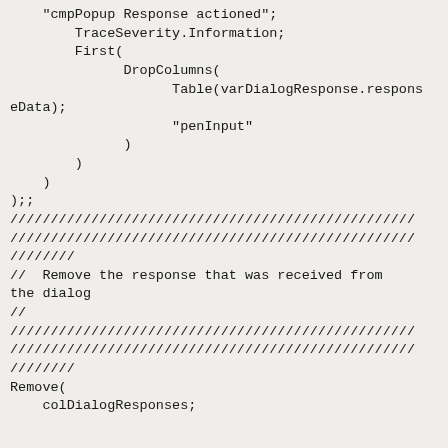"cmpPopup Response actioned";
        TraceSeverity.Information;
        First(
              DropColumns(
                    Table(varDialogResponse.responseData);
                    "penInput"
              )
        )
    )
);;
////////////////////////////////////////////////////
////////////
//  Remove the response that was received from the dialog
//
////////////////////////////////////////////////////
////////////
Remove(
    colDialogResponses;